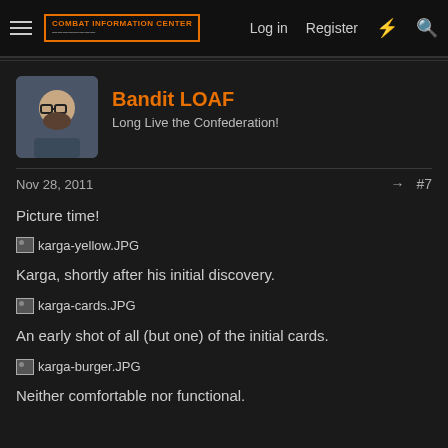Combat Information Center — Log in  Register
Bandit LOAF
Long Live the Confederation!
Nov 28, 2011  #7
Picture time!
[Figure (photo): Broken image placeholder: karga-yellow.JPG]
Karga, shortly after his initial discovery.
[Figure (photo): Broken image placeholder: karga-cards.JPG]
An early shot of all (but one) of the initial cards.
[Figure (photo): Broken image placeholder: karga-burger.JPG]
Neither comfortable nor functional.